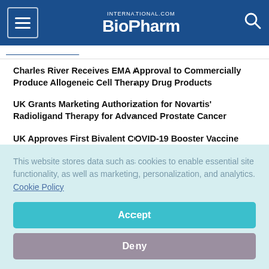BioPharm International
Charles River Receives EMA Approval to Commercially Produce Allogeneic Cell Therapy Drug Products
UK Grants Marketing Authorization for Novartis' Radioligand Therapy for Advanced Prostate Cancer
UK Approves First Bivalent COVID-19 Booster Vaccine
This website stores data such as cookies to enable essential site functionality, as well as marketing, personalization, and analytics. Cookie Policy
Accept
Deny